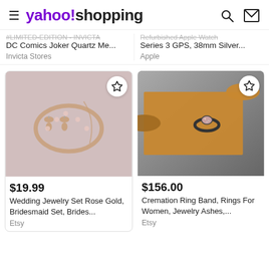yahoo!shopping
DC Comics Joker Quartz Me...
Invicta Stores
Refurbished Apple Watch Series 3 GPS, 38mm Silver...
Apple
[Figure (photo): Rose gold wedding jewelry set with bracelet, earrings, and necklace on light pink background]
$19.99
Wedding Jewelry Set Rose Gold, Bridesmaid Set, Brides...
Etsy
[Figure (photo): A dark ring with colorful stone displayed on a wooden tapered peg against gray background]
$156.00
Cremation Ring Band, Rings For Women, Jewelry Ashes,...
Etsy